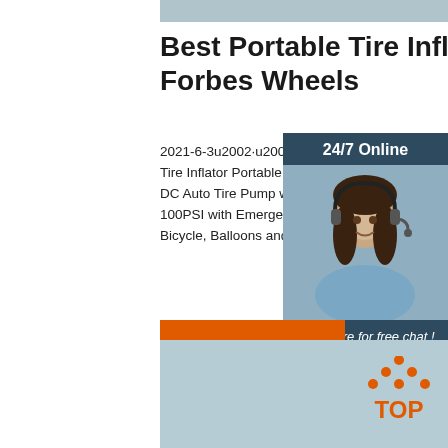Best Portable Tire Inflators - Forbes Wheels
2021-6-3u2002·u2002AstroAI Air Compressor Tire Inflator Portable Air Pump for Car Tires DC Auto Tire Pump with Digital Pressure G 100PSI with Emergency LED Light for Car, Bicycle, Balloons and Other Inflatables
[Figure (other): Chat widget showing 24/7 Online agent photo with Click here for free chat and QUOTATION button]
Get Price
[Figure (illustration): TOP scroll-to-top button with orange dots arranged in triangle above the word TOP in orange]